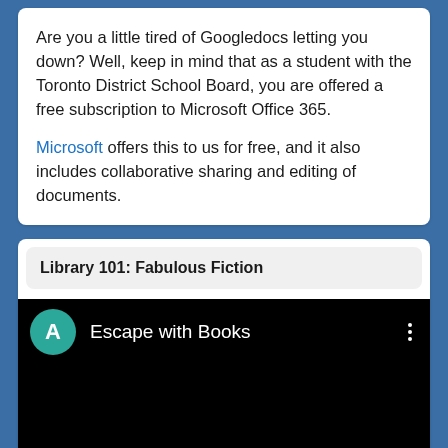Are you a little tired of Googledocs letting you down? Well, keep in mind that as a student with the Toronto District School Board, you are offered a free subscription to Microsoft Office 365.
Microsoft offers this to us for free, and it also includes collaborative sharing and editing of documents.
Library 101: Fabulous Fiction
[Figure (screenshot): Video thumbnail showing 'Escape with Books' with a teal avatar circle with letter A, on a black background, with a three-dot menu icon. Bottom bar shows a play button and fullscreen icon.]